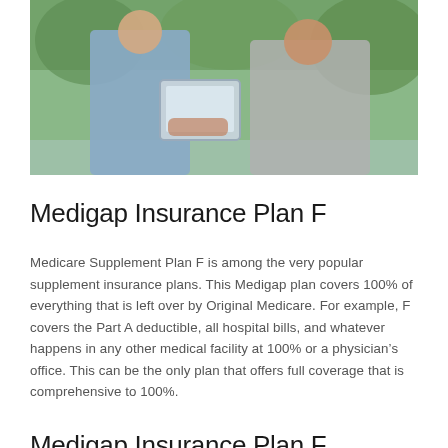[Figure (photo): Two elderly people sitting outdoors, one holding a tablet device, with greenery in the background]
Medigap Insurance Plan F
Medicare Supplement Plan F is among the very popular supplement insurance plans. This Medigap plan covers 100% of everything that is left over by Original Medicare. For example, F covers the Part A deductible, all hospital bills, and whatever happens in any other medical facility at 100% or a physician’s office. This can be the only plan that offers full coverage that is comprehensive to 100%.
Medigap Insurance Plan F